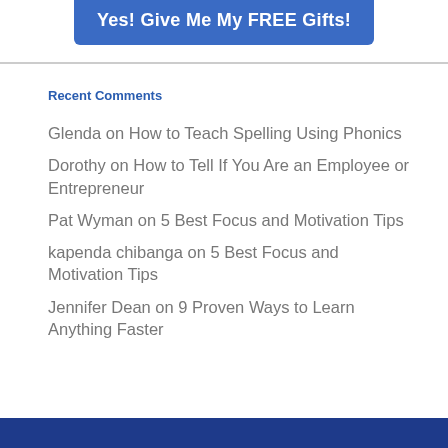[Figure (other): Blue button with text 'Yes! Give Me My FREE Gifts!']
Recent Comments
Glenda on How to Teach Spelling Using Phonics
Dorothy on How to Tell If You Are an Employee or Entrepreneur
Pat Wyman on 5 Best Focus and Motivation Tips
kapenda chibanga on 5 Best Focus and Motivation Tips
Jennifer Dean on 9 Proven Ways to Learn Anything Faster